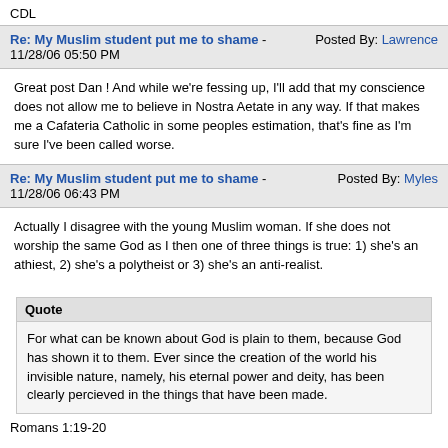CDL
Re: My Muslim student put me to shame - 11/28/06 05:50 PM   Posted By: Lawrence
Great post Dan ! And while we're fessing up, I'll add that my conscience does not allow me to believe in Nostra Aetate in any way. If that makes me a Cafateria Catholic in some peoples estimation, that's fine as I'm sure I've been called worse.
Re: My Muslim student put me to shame - 11/28/06 06:43 PM   Posted By: Myles
Actually I disagree with the young Muslim woman. If she does not worship the same God as I then one of three things is true: 1) she's an athiest, 2) she's a polytheist or 3) she's an anti-realist.
Quote
For what can be known about God is plain to them, because God has shown it to them. Ever since the creation of the world his invisible nature, namely, his eternal power and deity, has been clearly percieved in the things that have been made.
Romans 1:19-20